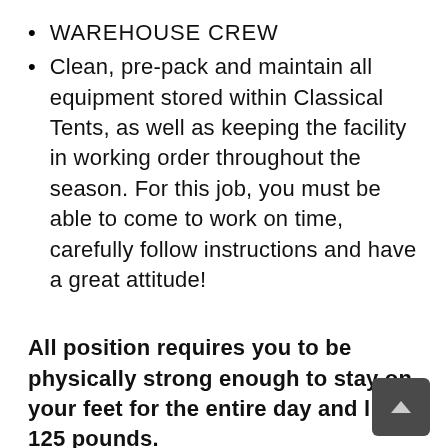WAREHOUSE CREW
Clean, pre-pack and maintain all equipment stored within Classical Tents, as well as keeping the facility in working order throughout the season. For this job, you must be able to come to work on time, carefully follow instructions and have a great attitude!
All position requires you to be physically strong enough to stay on your feet for the entire day and lift 125 pounds.